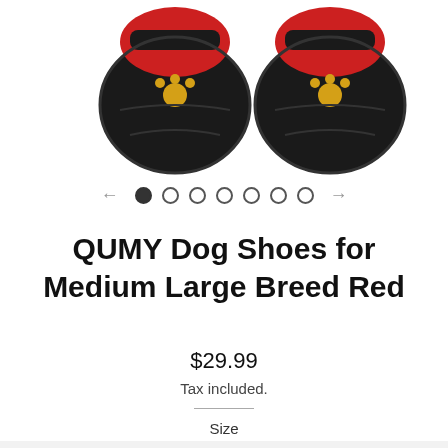[Figure (photo): Two black and red dog shoes/boots with yellow paw prints on the soles, photographed from above showing the bottom/sole side]
[Figure (other): Carousel navigation with left arrow, 7 dots (first filled/active), and right arrow]
QUMY Dog Shoes for Medium Large Breed Red
$29.99
Tax included.
Size
3 - 1.8" 3.1"(Wth) for 18-37 lb